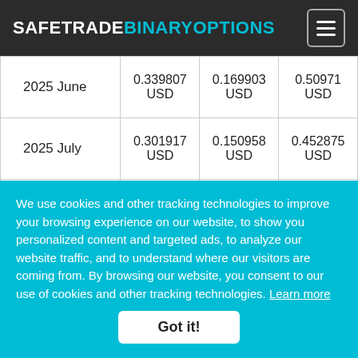SAFETRADEBINARYOPTIONS
| 2025 June | 0.339807 USD | 0.169903 USD | 0.50971 USD |
| 2025 July | 0.301917 USD | 0.150958 USD | 0.452875 USD |
| 2025 August | 0.348292 USD | 0.174146 USD | 0.522438 USD |
| 2025 | 0.317821 | 0.158911 | 0.476732 |
We use cookies and other tracking technologies to improve your browsing experience on our website, to show you personalized content and targeted ads, to analyze our website traffic, and to understand where our visitors are coming from. By browsing our website, you consent to our use of cookies and other tracking technologies. Learn more